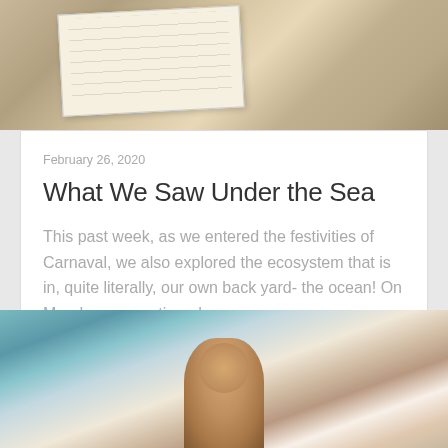[Figure (photo): Photo of a journal/notebook with handwriting on a wooden surface with a hand visible]
February 26, 2020
What We Saw Under the Sea
This past week, as we entered the festivities of Carnaval, we also explored the ecosystem that is in, quite literally, our own back yard- the ocean! On Monday, we continued…
Posted in Our weekly summary, Peace Corpes Volunteer •
[Figure (photo): Photo of a child in a classroom raising their hand to their head, with other children in the background]